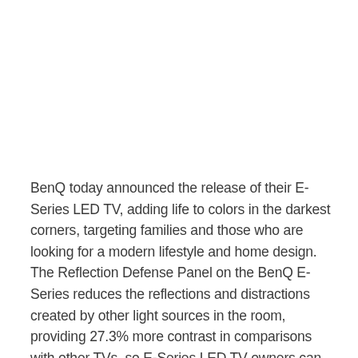BenQ today announced the release of their E-Series LED TV, adding life to colors in the darkest corners, targeting families and those who are looking for a modern lifestyle and home design. The Reflection Defense Panel on the BenQ E-Series reduces the reflections and distractions created by other light sources in the room, providing 27.3% more contrast in comparisons with other TVs, so E-Series LED TV owners can enjoy true-to-life colors with more comfort to their eyes. BenQ E-Series comes equipped with USB Multimedia ports, providing the users easy